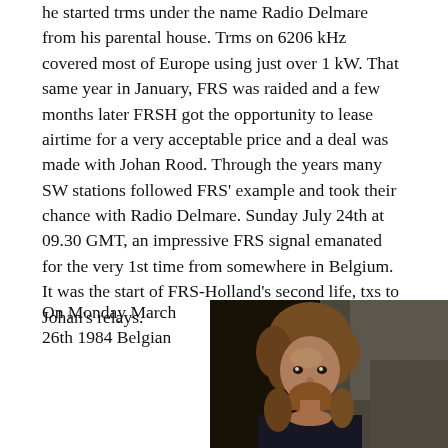he started trms under the name Radio Delmare from his parental house. Trms on 6206 kHz covered most of Europe using just over 1 kW. That same year in January, FRS was raided and a few months later FRSH got the opportunity to lease airtime for a very acceptable price and a deal was made with Johan Rood. Through the years many SW stations followed FRS' example and took their chance with Radio Delmare. Sunday July 24th at 09.30 GMT, an impressive FRS signal emanated for the very 1st time from somewhere in Belgium. It was the start of FRS-Holland's second life, txs to Johan's relays.
On Monday March 26th 1984 Belgian
[Figure (photo): A young man with curly reddish-blonde hair and a beard, wearing a dark tank top, photographed indoors against a dark background.]